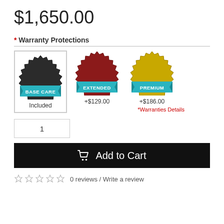$1,650.00
* Warranty Protections
[Figure (infographic): Three warranty badge options: BASE CARE (Included, selected/highlighted), EXTENDED (+$129.00), PREMIUM (+$186.00). Each badge shows a seal/medallion graphic with a blue ribbon banner and the warranty tier name. Below the badges are prices. A red link '*Warranties Details' appears below the premium option.]
1
Add to Cart
0 reviews / Write a review